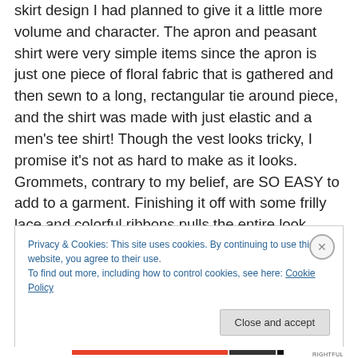skirt design I had planned to give it a little more volume and character. The apron and peasant shirt were very simple items since the apron is just one piece of floral fabric that is gathered and then sewn to a long, rectangular tie around piece, and the shirt was made with just elastic and a men's tee shirt! Though the vest looks tricky, I promise it's not as hard to make as it looks. Grommets, contrary to my belief, are SO EASY to add to a garment. Finishing it off with some frilly lace and colorful ribbons pulls the entire look together and gives it that German charm.
Privacy & Cookies: This site uses cookies. By continuing to use this website, you agree to their use.
To find out more, including how to control cookies, see here: Cookie Policy